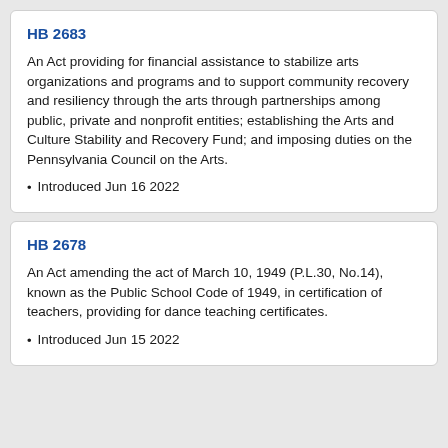HB 2683
An Act providing for financial assistance to stabilize arts organizations and programs and to support community recovery and resiliency through the arts through partnerships among public, private and nonprofit entities; establishing the Arts and Culture Stability and Recovery Fund; and imposing duties on the Pennsylvania Council on the Arts.
Introduced Jun 16 2022
HB 2678
An Act amending the act of March 10, 1949 (P.L.30, No.14), known as the Public School Code of 1949, in certification of teachers, providing for dance teaching certificates.
Introduced Jun 15 2022